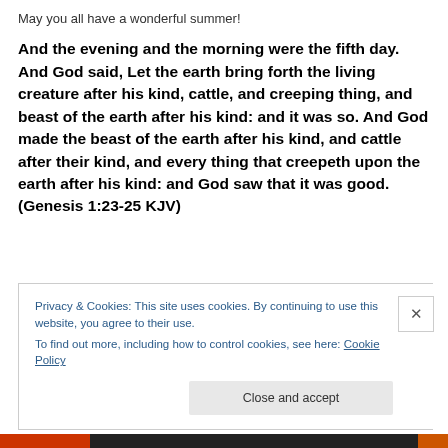May you all have a wonderful summer!
And the evening and the morning were the fifth day. And God said, Let the earth bring forth the living creature after his kind, cattle, and creeping thing, and beast of the earth after his kind: and it was so. And God made the beast of the earth after his kind, and cattle after their kind, and every thing that creepeth upon the earth after his kind: and God saw that it was good. (Genesis 1:23-25 KJV)
Privacy & Cookies: This site uses cookies. By continuing to use this website, you agree to their use.
To find out more, including how to control cookies, see here: Cookie Policy
Close and accept